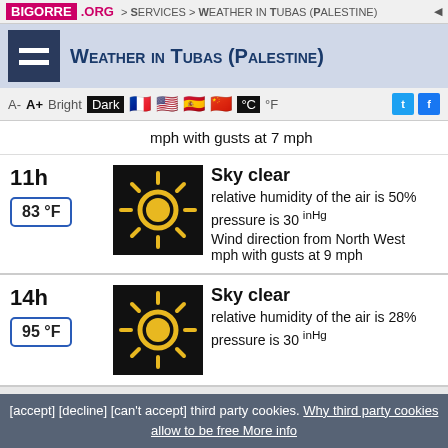BIGORRE.ORG > Services > Weather in Tubas (Palestine)
Weather in Tubas (Palestine)
A- A+ Bright Dark °C °F
mph with gusts at 7 mph
11h — 83 °F — Sky clear — relative humidity of the air is 50% — pressure is 30 inHg — Wind direction from North West mph with gusts at 9 mph
14h — 95 °F — Sky clear — relative humidity of the air is 28% — pressure is 30 inHg — Wind direction from North West mph with gusts at 1 mph
[accept] [decline] [can't accept] third party cookies. Why third party cookies allow to be free More info